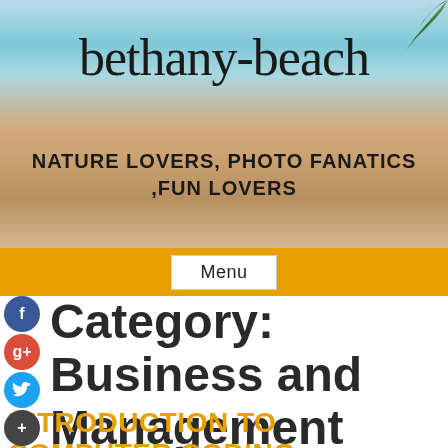[Figure (photo): Beach hero banner with turquoise ocean water, sandy beach, and palm leaf in top-right corner]
bethany-beach
NATURE LOVERS, PHOTO FANATICS ,FUN LOVERS
Menu
Category: Business and Management
INTRODUCTION TO COMPUTER CODING